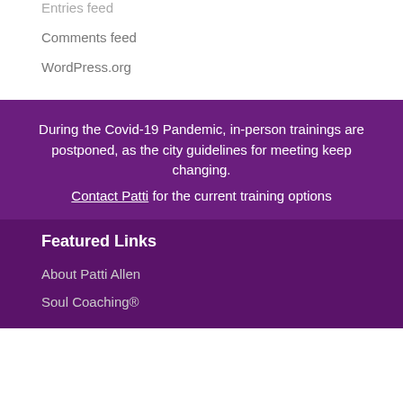Entries feed
Comments feed
WordPress.org
During the Covid-19 Pandemic, in-person trainings are postponed, as the city guidelines for meeting keep changing. Contact Patti for the current training options
Featured Links
About Patti Allen
Soul Coaching®